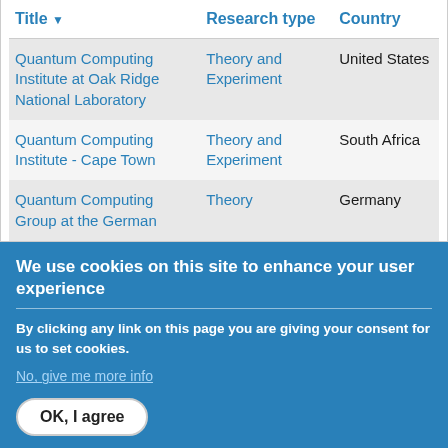| Title | Research type | Country |
| --- | --- | --- |
| Quantum Computing Institute at Oak Ridge National Laboratory | Theory and Experiment | United States |
| Quantum Computing Institute - Cape Town | Theory and Experiment | South Africa |
| Quantum Computing Group at the German | Theory | Germany |
We use cookies on this site to enhance your user experience
By clicking any link on this page you are giving your consent for us to set cookies.
No, give me more info
OK, I agree